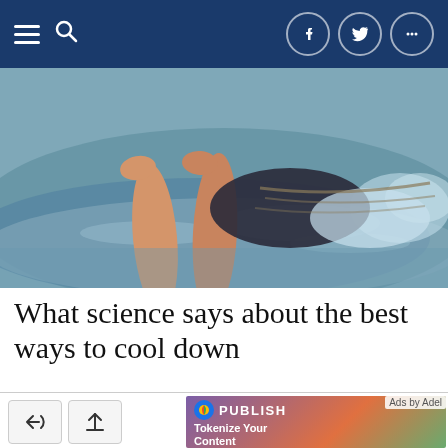Navigation bar with hamburger menu, search icon, Facebook, Twitter, and more social icons
[Figure (photo): Photo of a person lying in shallow water at the beach, legs visible, wearing dark shorts, water splashing around them]
What science says about the best ways to cool down
[Figure (screenshot): Advertisement banner: PUBLISH logo with 'Tokenize Your Content' and 'Monetize content' text on a colorful gradient background. Ads by Adel label.]